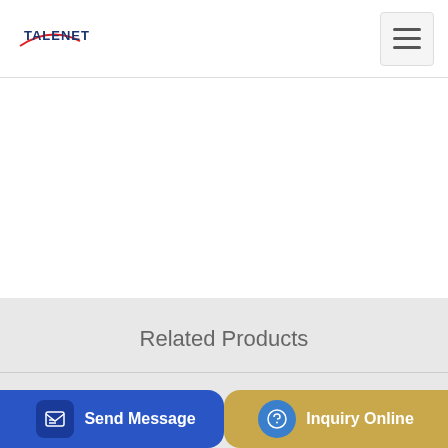TALENET
Related Products
better cheap hot sale concrete mixer
heavy duty concrete pump trucks for sale commercial
...ble C...
Send Message
Inquiry Online